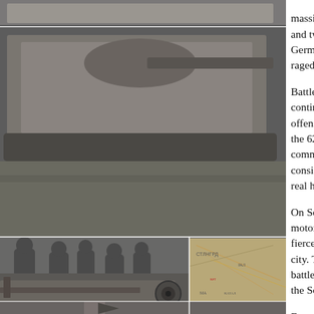[Figure (photo): Collage of WWII black and white photographs showing tanks, soldiers, and a military map of the Stalingrad area. Multiple photos arranged in a grid: top shows a tank hull, middle-left shows soldiers, middle shows a close-up of a tank gun barrel with map backdrop, bottom shows a soldier.]
massive offensive operations, drawing aw and two motorized divisions. It was not po Germans completely. Fierce battles for th raged on.

Battles in the city started on September 1 continued until November 19th, when the offensive as a part of "Operation Uranus" the 62nd army was tasked with defending command of Lieutenant-General V.I. Chu considered too inexperienced to lead befo real hell for the enemy in the city.

On September 13th, 6 German infantry, th motorized divisions were near the city. U fierce battles were fought in the central a city. The enemy was held back south of th battle in the center was not as fortunate. the Soviets back to the Krutoy ravine.

Especially fierce fighting for the train stati September 17th. In one day, it changed h Germans left 4 tanks and 100 dead there the left flank of the Stalingrad Front atten offensive to take the train station, with s